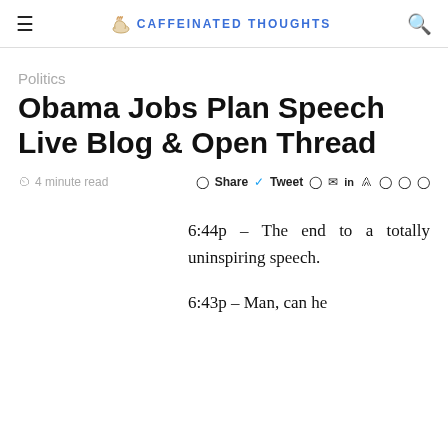CAFFEINATED THOUGHTS
Politics
Obama Jobs Plan Speech Live Blog & Open Thread
4 minute read   Share  Tweet
6:44p – The end to a totally uninspiring speech.
6:43p – Man, can he...